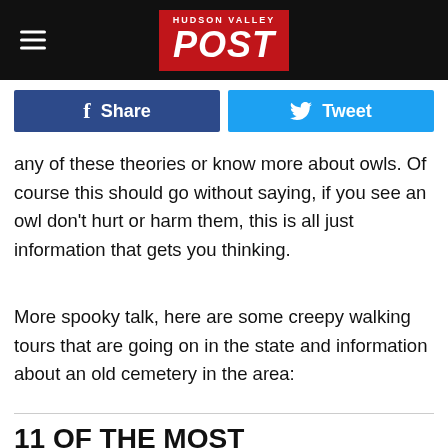HUDSON VALLEY POST
[Figure (logo): Hudson Valley Post logo — red background with white bold italic POST text and HUDSON VALLEY above it in small caps]
[Figure (infographic): Facebook Share button (dark blue) and Twitter Tweet button (light blue) side by side]
any of these theories or know more about owls. Of course this should go without saying, if you see an owl don't hurt or harm them, this is all just information that gets you thinking.
More spooky talk, here are some creepy walking tours that are going on in the state and information about an old cemetery in the area:
11 OF THE MOST INTERESTING WALKING TOURS IN UPSTATE NEW YORK (INCLUDING THREE SPOOKY GHOST TOURS)